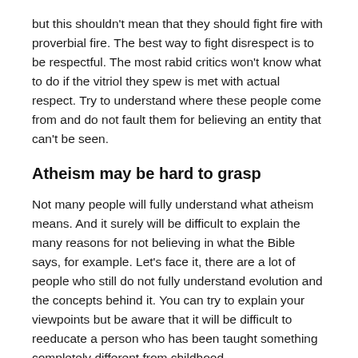but this shouldn't mean that they should fight fire with proverbial fire. The best way to fight disrespect is to be respectful. The most rabid critics won't know what to do if the vitriol they spew is met with actual respect. Try to understand where these people come from and do not fault them for believing an entity that can't be seen.
Atheism may be hard to grasp
Not many people will fully understand what atheism means. And it surely will be difficult to explain the many reasons for not believing in what the Bible says, for example. Let's face it, there are a lot of people who still do not fully understand evolution and the concepts behind it. You can try to explain your viewpoints but be aware that it will be difficult to reeducate a person who has been taught something completely different from childhood.